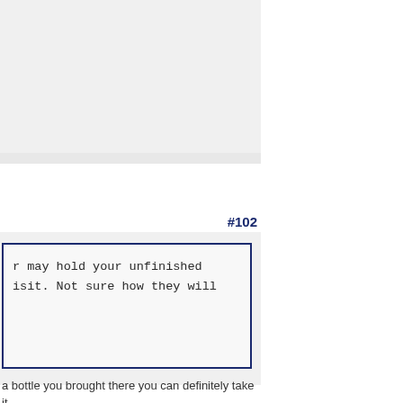[Figure (other): Gray background area at top of left column]
#102
r may hold your unfinished
isit. Not sure how they will
a bottle you brought there you can definitely take it
d to take home the unfinished portion if it gets
vision.